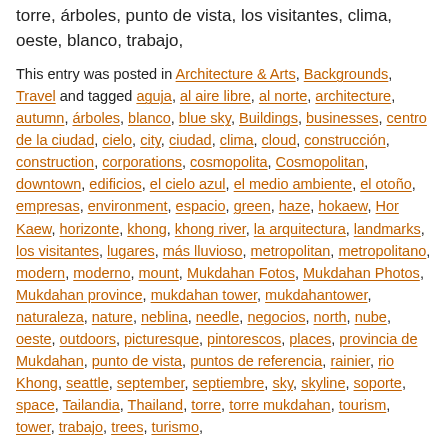torre, árboles, punto de vista, los visitantes, clima, oeste, blanco, trabajo,
This entry was posted in Architecture & Arts, Backgrounds, Travel and tagged aguja, al aire libre, al norte, architecture, autumn, árboles, blanco, blue sky, Buildings, businesses, centro de la ciudad, cielo, city, ciudad, clima, cloud, construcción, construction, corporations, cosmopolita, Cosmopolitan, downtown, edificios, el cielo azul, el medio ambiente, el otoño, empresas, environment, espacio, green, haze, hokaew, Hor Kaew, horizonte, khong, khong river, la arquitectura, landmarks, los visitantes, lugares, más lluvioso, metropolitan, metropolitano, modern, moderno, mount, Mukdahan Fotos, Mukdahan Photos, Mukdahan province, mukdahan tower, mukdahantower, naturaleza, nature, neblina, needle, negocios, north, nube, oeste, outdoors, picturesque, pintorescos, places, provincia de Mukdahan, punto de vista, puntos de referencia, rainier, rio Khong, seattle, september, septiembre, sky, skyline, soporte, space, Tailandia, Thailand, torre, torre mukdahan, tourism, tower, trabajo, trees, turismo,